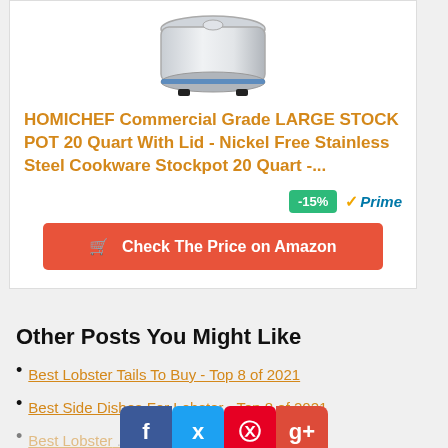[Figure (photo): Product image of a stainless steel large stock pot with lid - HOMICHEF brand]
HOMICHEF Commercial Grade LARGE STOCK POT 20 Quart With Lid - Nickel Free Stainless Steel Cookware Stockpot 20 Quart -...
-15% ✓Prime
🛒 Check The Price on Amazon
Other Posts You Might Like
Best Lobster Tails To Buy - Top 8 of 2021
Best Side Dishes For Lobster - Top 8 of 2021
Best Lobster ... pots - Top 8 of ...